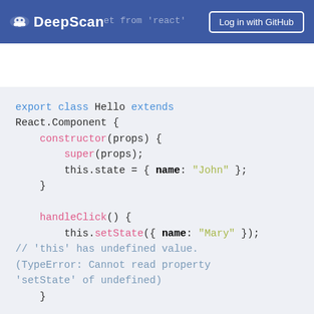DeepScan | Log in with GitHub
[Figure (screenshot): DeepScan code analysis tool showing a JavaScript/React class component with a bug where 'this' has undefined value in handleClick method. The code shows export class Hello extends React.Component with constructor, handleClick, and render methods. A comment indicates TypeError: Cannot read property 'setState' of undefined. A REACT_EVENT_HANDLER_INVALID_THIS alarm is triggered.]